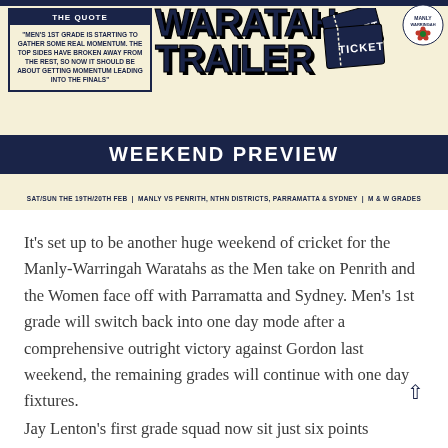[Figure (infographic): Waratah Trailer Weekend Preview banner. Contains 'THE QUOTE' box with text about Men's 1st grade momentum, large 'WARATAH TRAILER' title text, a ticket graphic, Waratah cricket club logo, 'WEEKEND PREVIEW' dark bar, and subheading: SAT/SUN THE 19TH/20TH FEB | MANLY VS PENRITH, NTHN DISTRICTS, PARRAMATTA & SYDNEY | M & W GRADES]
It's set up to be another huge weekend of cricket for the Manly-Warringah Waratahs as the Men take on Penrith and the Women face off with Parramatta and Sydney. Men's 1st grade will switch back into one day mode after a comprehensive outright victory against Gordon last weekend, the remaining grades will continue with one day fixtures.
Jay Lenton's first grade squad now sit just six points